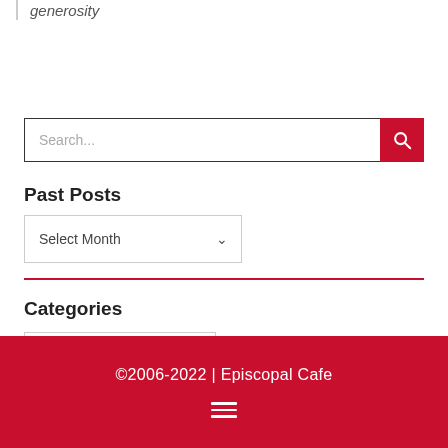generosity
Search...
Past Posts
Select Month
Categories
Select Category
©2006-2022 | Episcopal Cafe